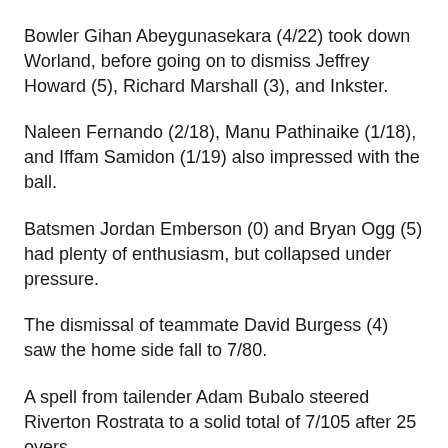Bowler Gihan Abeygunasekara (4/22) took down Worland, before going on to dismiss Jeffrey Howard (5), Richard Marshall (3), and Inkster.
Naleen Fernando (2/18), Manu Pathinaike (1/18), and Iffam Samidon (1/19) also impressed with the ball.
Batsmen Jordan Emberson (0) and Bryan Ogg (5) had plenty of enthusiasm, but collapsed under pressure.
The dismissal of teammate David Burgess (4) saw the home side fall to 7/80.
A spell from tailender Adam Bubalo steered Riverton Rostrata to a solid total of 7/105 after 25 overs.
Cannington openers Guththika Wijayamuni (2) and Roshan Pathnavaka (5) were sent packing after a few minutes at the crease